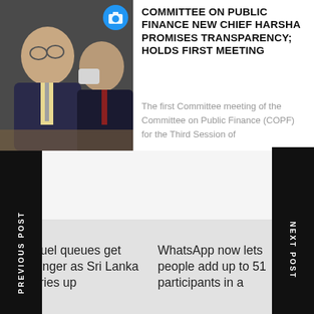[Figure (photo): Two men in suits at a meeting table; one wearing glasses, one wearing a face mask]
COMMITTEE ON PUBLIC FINANCE NEW CHIEF HARSHA PROMISES TRANSPARENCY; HOLDS FIRST MEETING
The first Committee meeting of the Committee on Public Finance (COPF) for the Third Session of
Admin
August 24, 2022
PREVIOUS POST
NEXT POST
← Fuel queues get longer as Sri Lanka dries up
WhatsApp now lets people add up to 51 participants in a